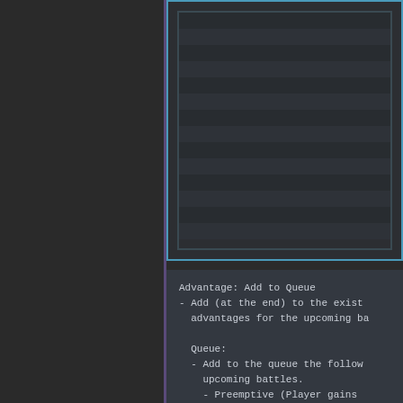[Figure (screenshot): Dark UI panel showing alternating striped rows inside a bordered box with blue outline, representing a game or application interface list panel.]
Advantage: Add to Queue
- Add (at the end) to the exist advantages for the upcoming ba

  Queue:
  - Add to the queue the follow upcoming battles.
    - Preemptive (Player gains
    - Surprise (Enemies gain tu